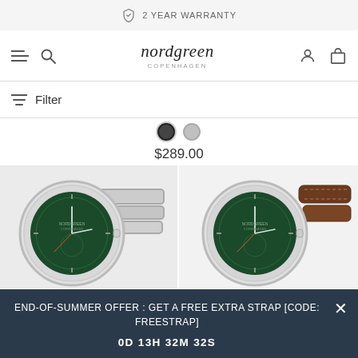2 YEAR WARRANTY
[Figure (logo): Nordgreen Copenhagen brand logo with hamburger menu, search, user account and shopping bag icons in navigation bar]
Filter
$289.00
[Figure (photo): Two Nordgreen watches with green dials: left one with silver metal bracelet, right one with brown leather strap, both showing chronograph face with silver case]
END-OF-SUMMER OFFER : GET A FREE EXTRA STRAP [CODE: FREESTRAP]
0D 13H 32M 32S